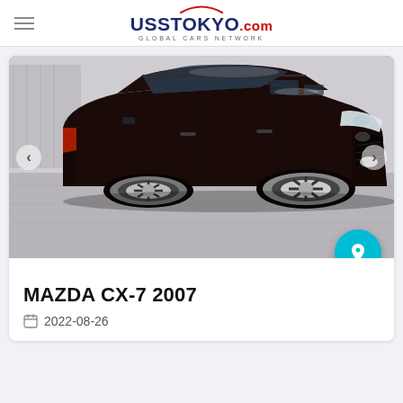UssTokyo.com — Global Cars Network
[Figure (photo): Dark brown/black Mazda CX-7 2007 SUV photographed in an auction lot, three-quarter front view, silver alloy wheels, on a light concrete/tile surface.]
MAZDA CX-7 2007
2022-08-26